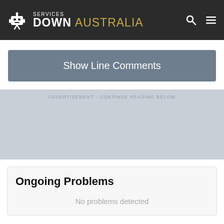SERVICES DOWN AUSTRALIA
Show Line Comments
ADVERTISEMENT - CONTINUE READING BELOW
Ongoing Problems
No problems detected